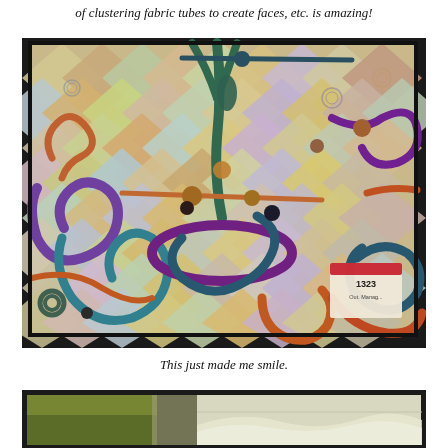of clustering fabric tubes to create faces, etc. is amazing!
[Figure (photo): A colorful art quilt displayed on a dark backdrop, featuring abstract swirling fabric tubes in purples, teals, oranges, and greens on a patchwork background of muted yellows, pinks, and greens. A label tag numbered 1323 is visible in the lower right corner.]
This just made me smile.
[Figure (photo): Partial view of another quilt or textile artwork at the bottom of the page, showing green foliage on the left and a light-colored landscape scene on the right.]